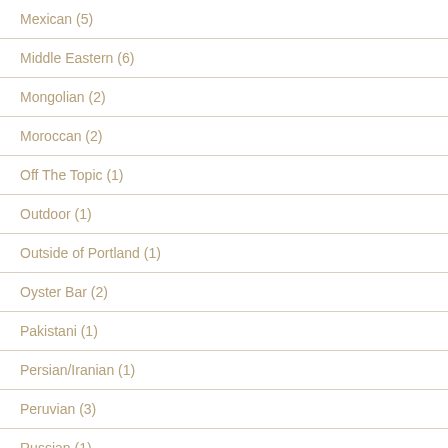Mexican (5)
Middle Eastern (6)
Mongolian (2)
Moroccan (2)
Off The Topic (1)
Outdoor (1)
Outside of Portland (1)
Oyster Bar (2)
Pakistani (1)
Persian/Iranian (1)
Peruvian (3)
Russian (1)
Sandwich (1)